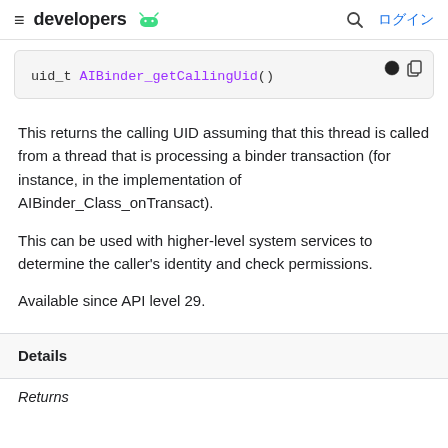developers  ログイン
[Figure (screenshot): Code block showing: uid_t AIBinder_getCallingUid()]
This returns the calling UID assuming that this thread is called from a thread that is processing a binder transaction (for instance, in the implementation of AIBinder_Class_onTransact).
This can be used with higher-level system services to determine the caller's identity and check permissions.
Available since API level 29.
Details
Returns